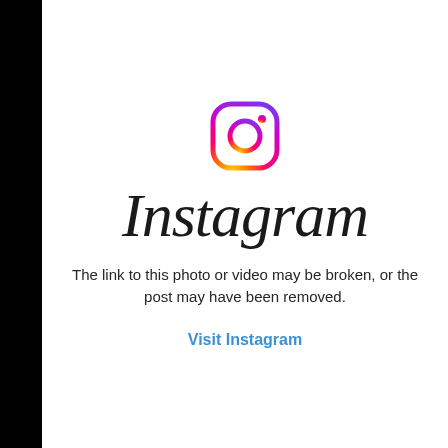[Figure (logo): Instagram camera icon logo with gradient colors from orange/red at bottom-left to purple at top-right]
Instagram
The link to this photo or video may be broken, or the post may have been removed.
Visit Instagram